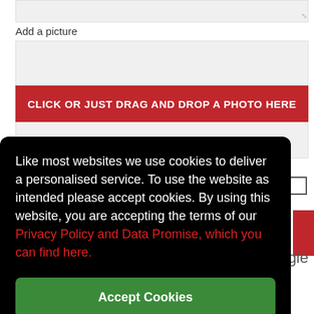Add a picture
[Figure (screenshot): Red button with text CLICK OR JUST DRAG AND DROP A PHOTO HERE on a web form interface]
Like most websites we use cookies to deliver a personalised service. To use the website as intended please accept cookies. By using this website, you are accepting the terms of our Privacy Policy and Data Promise, which you can find here.
Accept Cookies